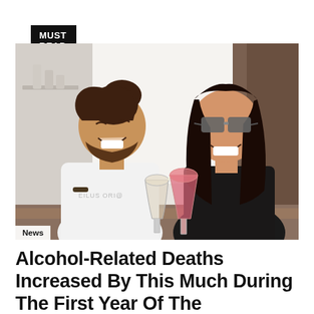MUST READ
[Figure (photo): A man with a beard and dark hair in a bun wearing a white t-shirt, and a woman with long dark hair wearing sunglasses, clinking wine glasses together and laughing.]
News
Alcohol-Related Deaths Increased By This Much During The First Year Of The Pandemic